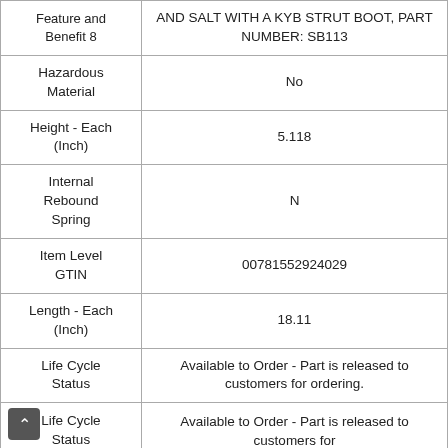| Attribute | Value |
| --- | --- |
| Feature and Benefit 8 | AND SALT WITH A KYB STRUT BOOT, PART NUMBER: SB113 |
| Hazardous Material | No |
| Height - Each (Inch) | 5.118 |
| Internal Rebound Spring | N |
| Item Level GTIN | 00781552924029 |
| Length - Each (Inch) | 18.11 |
| Life Cycle Status | Available to Order - Part is released to customers for ordering. |
| Life Cycle Status | Available to Order - Part is released to customers for |